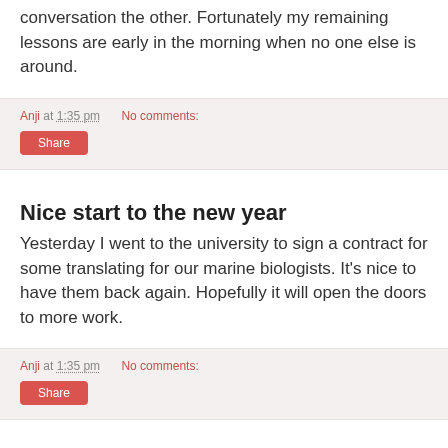conversation the other. Fortunately my remaining lessons are early in the morning when no one else is around.
Anji at 1:35 pm   No comments:
Share
Nice start to the new year
Yesterday I went to the university to sign a contract for some translating for our marine biologists. It’s nice to have them back again. Hopefully it will open the doors to more work.
Anji at 1:35 pm   No comments:
Share
Happy New Year!!!!